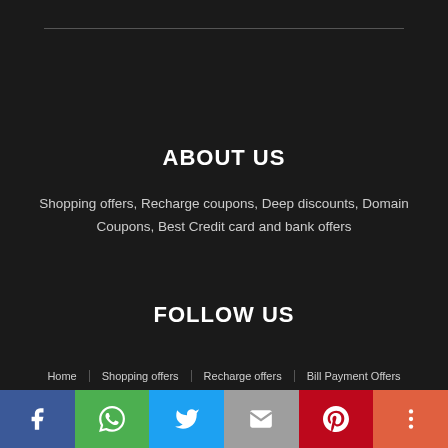ABOUT US
Shopping offers, Recharge coupons, Deep discounts, Domain Coupons, Best Credit card and bank offers
FOLLOW US
Home  Shopping offers  Recharge offers  Bill Payment Offers
[Figure (infographic): Social media share buttons bar: Facebook (blue), WhatsApp (green), Twitter (light blue), Email (grey), Pinterest (red), More (orange-red)]